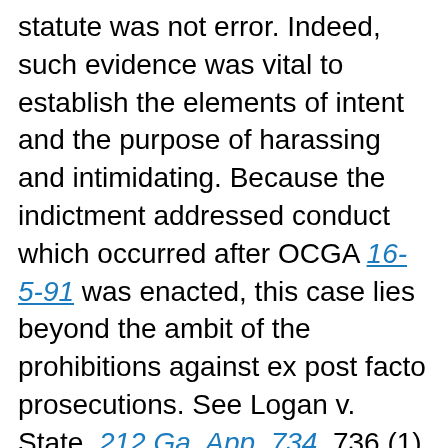statute was not error. Indeed, such evidence was vital to establish the elements of intent and the purpose of harassing and intimidating. Because the indictment addressed conduct which occurred after OCGA 16-5-91 was enacted, this case lies beyond the ambit of the prohibitions against ex post facto prosecutions. See Logan v. State, 212 Ga. App. 734, 736 (1) (b) (442 SE2d 883) (1994).
5. The trial court did not err in determining that the history of prior contact between the parties did not constitute similar transaction evidence, but showed motive and intent. See McTaggert v. State, 225 Ga. App. 359, 365 (2)